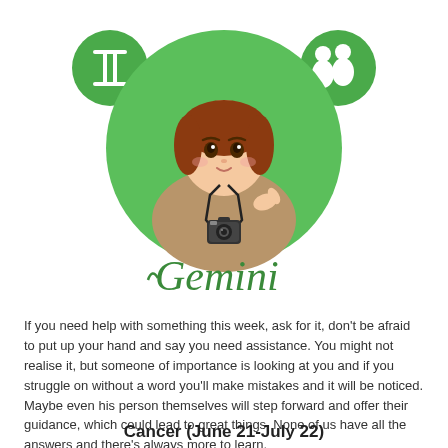[Figure (illustration): Gemini zodiac illustration: cartoon girl with red hair holding camera inside green circle, flanked by Gemini symbol icon (left) and twin figures icon (right). 'Gemini' written in green cursive script below the circle.]
If you need help with something this week, ask for it, don't be afraid to put up your hand and say you need assistance. You might not realise it, but someone of importance is looking at you and if you struggle on without a word you'll make mistakes and it will be noticed. Maybe even his person themselves will step forward and offer their guidance, which could lead to great things. None of us have all the answers and there's always more to learn.
Cancer (June 21-July 22)